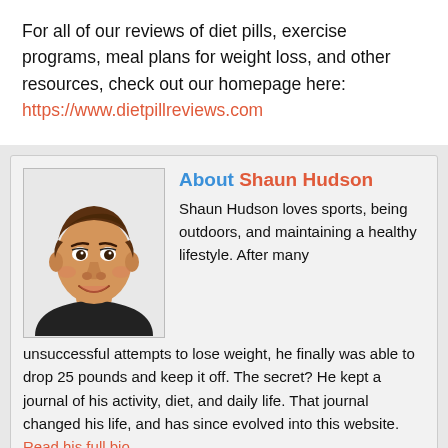For all of our reviews of diet pills, exercise programs, meal plans for weight loss, and other resources, check out our homepage here: https://www.dietpillreviews.com
[Figure (illustration): Cartoon illustration of a man with brown hair wearing a black shirt, shown from shoulders up, smiling.]
About Shaun Hudson
Shaun Hudson loves sports, being outdoors, and maintaining a healthy lifestyle. After many unsuccessful attempts to lose weight, he finally was able to drop 25 pounds and keep it off. The secret? He kept a journal of his activity, diet, and daily life. That journal changed his life, and has since evolved into this website. Read his full bio.